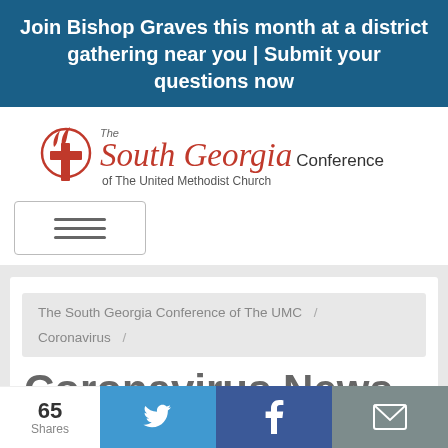Join Bishop Graves this month at a district gathering near you | Submit your questions now
[Figure (logo): The South Georgia Conference of The United Methodist Church logo with UMC cross and flame icon]
The South Georgia Conference of The UMC / Coronavirus /
Coronavirus News &
65 Shares